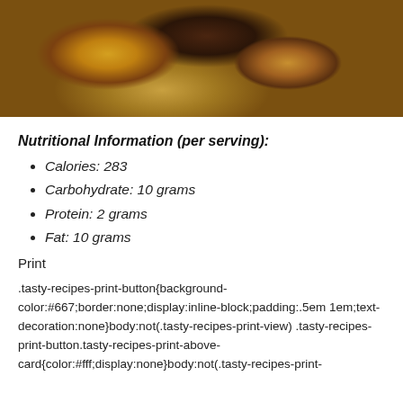[Figure (photo): Close-up photo of chocolate peanut butter cups stacked, with dark chocolate coating and golden/caramel interior visible]
Nutritional Information (per serving):
Calories: 283
Carbohydrate: 10 grams
Protein: 2 grams
Fat: 10 grams
Print
.tasty-recipes-print-button{background-color:#667;border:none;display:inline-block;padding:.5em 1em;text-decoration:none}body:not(.tasty-recipes-print-view) .tasty-recipes-print-button.tasty-recipes-print-above-card{color:#fff;display:none}body:not(.tasty-recipes-print-